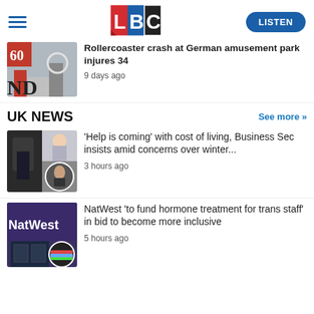LBC — LISTEN
[Figure (photo): Rollercoaster at amusement park]
Rollercoaster crash at German amusement park injures 34
9 days ago
UK NEWS
See more >>
[Figure (photo): Cost of living news collage with politicians]
'Help is coming' with cost of living, Business Sec insists amid concerns over winter...
3 hours ago
[Figure (photo): NatWest bank sign with rainbow shoe]
NatWest 'to fund hormone treatment for trans staff' in bid to become more inclusive
5 hours ago